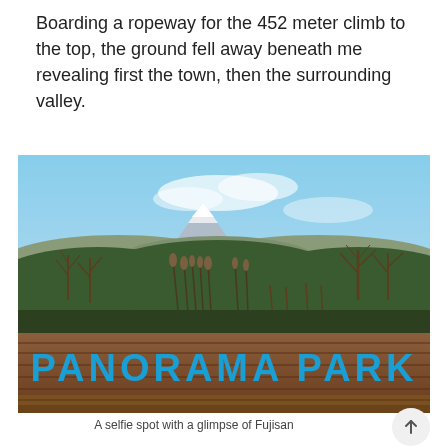Boarding a ropeway for the 452 meter climb to the top, the ground fell away beneath me revealing first the town, then the surrounding valley.
[Figure (photo): Outdoor photo showing a wooden sign reading 'PANORAMA PARK' in large blue letters, with bare trees, a hilly landscape, and a snow-capped mountain (Fujisan) visible in the background under a blue sky.]
A selfie spot with a glimpse of Fujisan